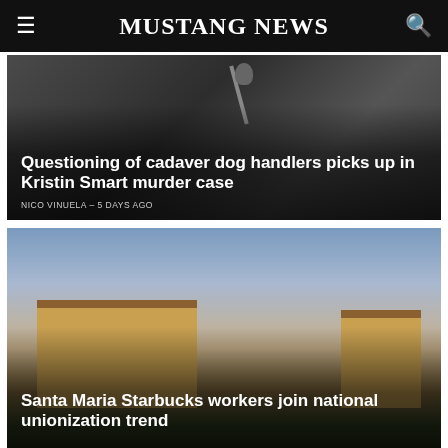MUSTANG NEWS
[Figure (photo): Person at podium with microphone at a hearing or court proceeding]
Questioning of cadaver dog handlers picks up in Kristin Smart murder case
NICO VINUELA – 5 DAYS AGO
[Figure (photo): Exterior of a Starbucks building with yellow/tan walls and dark roof against a blue sky]
Santa Maria Starbucks workers join national unionization trend